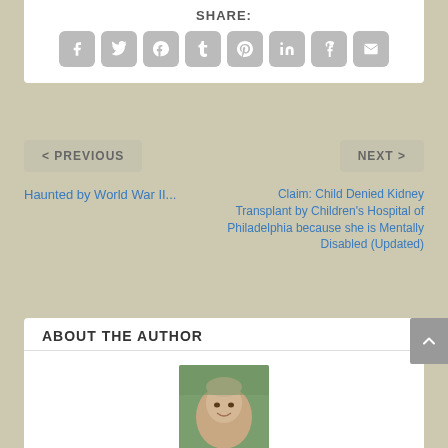SHARE:
[Figure (infographic): Row of 8 social sharing icon buttons: Facebook, Twitter, Google+, Tumblr, Pinterest, LinkedIn, StumbleUpon, Email]
< PREVIOUS
NEXT >
Haunted by World War II...
Claim: Child Denied Kidney Transplant by Children's Hospital of Philadelphia because she is Mentally Disabled (Updated)
ABOUT THE AUTHOR
[Figure (photo): Portrait photo of a young woman with short light hair, smiling, with greenery/flowers in the background]